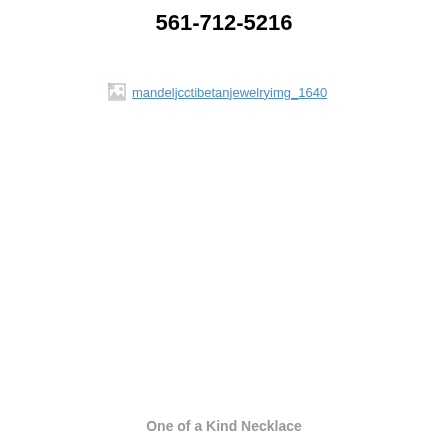561-712-5216
[Figure (photo): Broken image placeholder with link text: mandeljcctibetanjewelryimg_1640]
One of a Kind Necklace